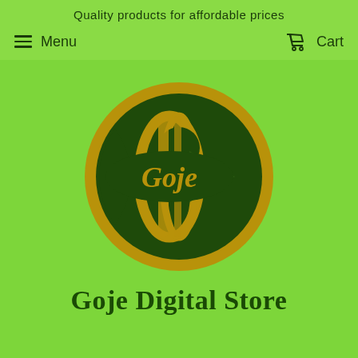Quality products for affordable prices
Menu   Cart
[Figure (logo): Goje Digital Store circular logo: dark green circle with gold ring border, globe/play-button design, text 'Goje' in gold italic font on dark green sphere, set on bright green background]
Goje Digital Store